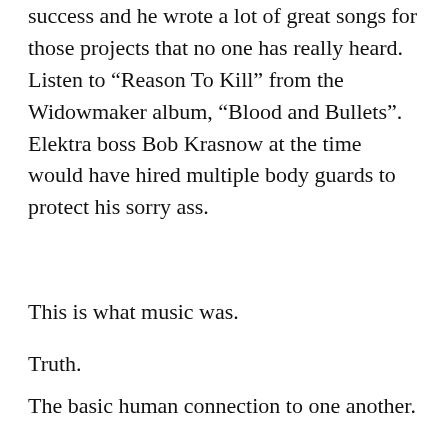success and he wrote a lot of great songs for those projects that no one has really heard. Listen to “Reason To Kill” from the Widowmaker album, “Blood and Bullets”. Elektra boss Bob Krasnow at the time would have hired multiple body guards to protect his sorry ass.
This is what music was.
Truth.
The basic human connection to one another.